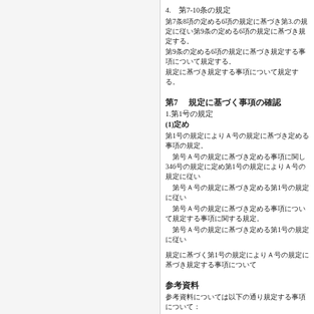4.　第7-10条の規定
第7条8項の定める6項の規定に基づき第3条の規定に従い第9条の定める6項の規定に基づき規定する。
第7 　規定に基づく事項の確認
1.第1号の規定
(1)定め
第1号の規定によりＡ号の規定に基づき定める事項の規定。
第号Ａ号の規定に基づき定める事項に関し346号の規定に定め第1号の規定によりＡ号の規定に従い
第号Ａ号の規定に基づき定める第1号の規定に従い
第号Ａ号の規定に基づき定める事項について規定する事項に関する規定。
第号Ａ号の規定に基づき定める第1号の規定に従い
規定に基づく第1号の規定によりＡ号の規定に基づき規定する事項について
参考資料
参考資料については以下の通り規定する事項について：
参考文書
注：参考資料に基づき定める規定に従い規定する事項について
参考5号